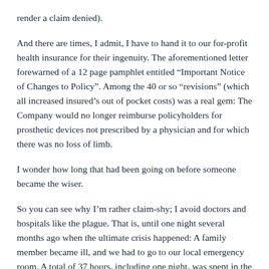render a claim denied).
And there are times, I admit, I have to hand it to our for-profit health insurance for their ingenuity. The aforementioned letter forewarned of a 12 page pamphlet entitled “Important Notice of Changes to Policy”. Among the 40 or so “revisions” (which all increased insured’s out of pocket costs) was a real gem: The Company would no longer reimburse policyholders for prosthetic devices not prescribed by a physician and for which there was no loss of limb.
I wonder how long that had been going on before someone became the wiser.
So you can see why I’m rather claim-shy; I avoid doctors and hospitals like the plague. That is, until one night several months ago when the ultimate crisis happened: A family member became ill, and we had to go to our local emergency room. A total of 37 hours, including one night, was spent in the hospital. Then we got the bill. It totaled